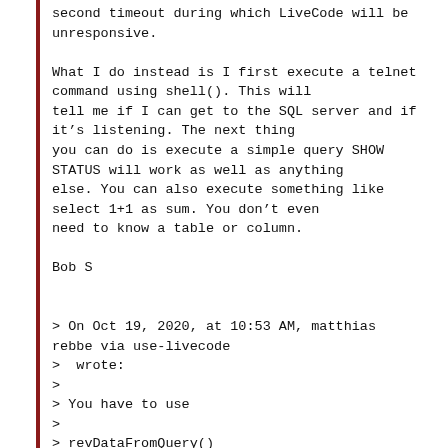second timeout during which LiveCode will be unresponsive.

What I do instead is I first execute a telnet command using shell(). This will tell me if I can get to the SQL server and if it's listening. The next thing you can do is execute a simple query SHOW STATUS will work as well as anything else. You can also execute something like select 1+1 as sum. You don't even need to know a table or column.

Bob S


> On Oct 19, 2020, at 10:53 AM, matthias rebbe via use-livecode
>  wrote:
>
> You have to use
>
> revDataFromQuery()